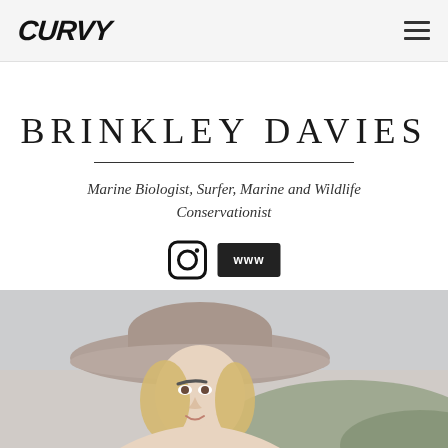CURVY
BRINKLEY DAVIES
Marine Biologist, Surfer, Marine and Wildlife Conservationist
[Figure (logo): Instagram icon and WWW button]
[Figure (photo): Photo of a woman wearing a wide-brimmed hat, blonde hair, outdoors with hills in background]